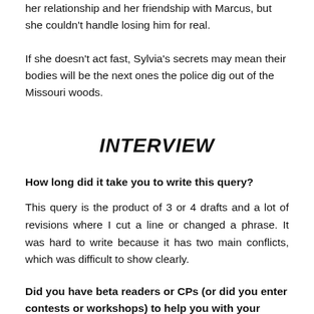her relationship and her friendship with Marcus, but she couldn't handle losing him for real.
If she doesn't act fast, Sylvia's secrets may mean their bodies will be the next ones the police dig out of the Missouri woods.
INTERVIEW
How long did it take you to write this query?
This query is the product of 3 or 4 drafts and a lot of revisions where I cut a line or changed a phrase. It was hard to write because it has two main conflicts, which was difficult to show clearly.
Did you have beta readers or CPs (or did you enter contests or workshops) to help you with your query?